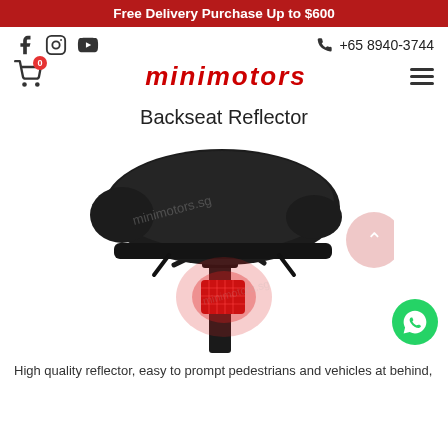Free Delivery Purchase Up to $600
+65 8940-3744
[Figure (logo): MINIMOTORS logo in red italic text]
Backseat Reflector
[Figure (photo): Bicycle seat (black saddle) viewed from behind with a red reflector/light glowing at the base of the seat post. White background.]
High quality reflector, easy to prompt pedestrians and vehicles at behind,